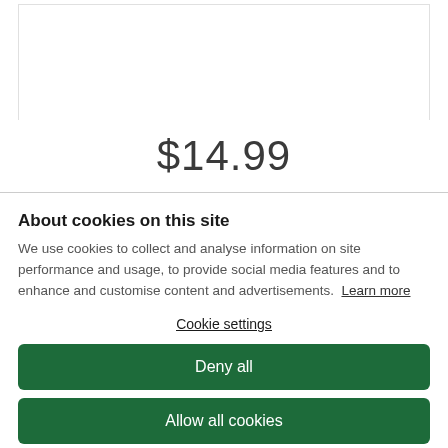[Figure (screenshot): Top white box area partial view of a webpage]
$14.99
About cookies on this site
We use cookies to collect and analyse information on site performance and usage, to provide social media features and to enhance and customise content and advertisements. Learn more
Cookie settings
Deny all
Allow all cookies